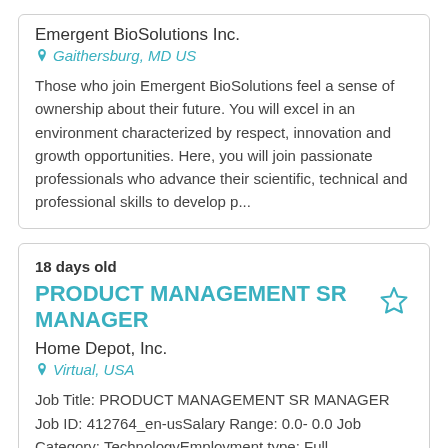Emergent BioSolutions Inc.
Gaithersburg, MD US
Those who join Emergent BioSolutions feel a sense of ownership about their future. You will excel in an environment characterized by respect, innovation and growth opportunities. Here, you will join passionate professionals who advance their scientific, technical and professional skills to develop p...
18 days old
PRODUCT MANAGEMENT SR MANAGER
Home Depot, Inc.
Virtual, USA
Job Title: PRODUCT MANAGEMENT SR MANAGER Job ID: 412764_en-usSalary Range: 0.0- 0.0 Job Category: TechnologyEmployment type: Full TimePosition Description:Position Purpose: The Product Management Sr. Manager is responsible for attracting, retaining and developing top talent focused on